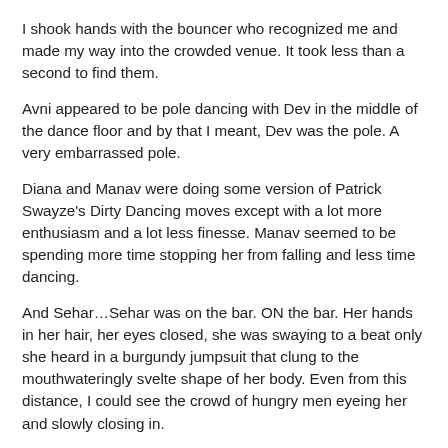I shook hands with the bouncer who recognized me and made my way into the crowded venue. It took less than a second to find them.
Avni appeared to be pole dancing with Dev in the middle of the dance floor and by that I meant, Dev was the pole. A very embarrassed pole.
Diana and Manav were doing some version of Patrick Swayze's Dirty Dancing moves except with a lot more enthusiasm and a lot less finesse. Manav seemed to be spending more time stopping her from falling and less time dancing.
And Sehar…Sehar was on the bar. ON the bar. Her hands in her hair, her eyes closed, she was swaying to a beat only she heard in a burgundy jumpsuit that clung to the mouthwateringly svelte shape of her body. Even from this distance, I could see the crowd of hungry men eyeing her and slowly closing in.
I made it to the bar in record time. For once, I was grateful for the…